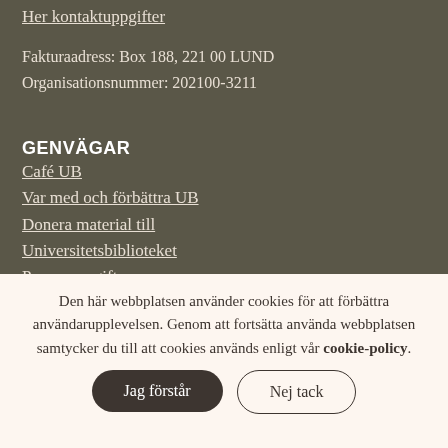Her kontaktuppgifter
Fakturaadress: Box 188, 221 00 LUND
Organisationsnummer: 202100-3211
GENVÄGAR
Café UB
Var med och förbättra UB
Donera material till
Universitetsbiblioteket
Personuppgifter
Tillgänglighetsredogörelse
Den här webbplatsen använder cookies för att förbättra användarupplevelsen. Genom att fortsätta använda webbplatsen samtycker du till att cookies används enligt vår cookie-policy.
Jag förstår
Nej tack